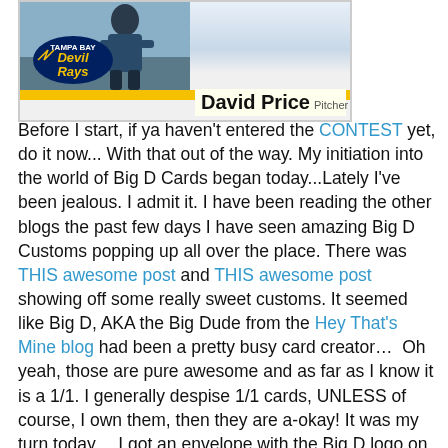[Figure (photo): David Price Tampa Bay Devil Rays baseball card with player photo and logo on left, name and position on bottom right]
Before I start, if ya haven't entered the CONTEST yet, do it now... With that out of the way. My initiation into the world of Big D Cards began today...Lately I've been jealous. I admit it. I have been reading the other blogs the past few days I have seen amazing Big D Customs popping up all over the place. There was THIS awesome post and THIS awesome post showing off some really sweet customs. It seemed like Big D, AKA the Big Dude from the Hey That's Mine blog had been a pretty busy card creator…  Oh yeah, those are pure awesome and as far as I know it is a 1/1. I generally despise 1/1 cards, UNLESS of course, I own them, then they are a-okay! It was my turn today… I got an envelope with the Big D logo on the return address. I was psyched! I was wondering what or who it would be. I was honestly hoping it wasn't regular trade cards as I really wanted a custom of my own. I ripped open the envelope and found that they weren't boring out Topps or Upper Deck cards; they were in fact, super awesome Big D Customs… As everyone else has already reported, these cards are nice. They are thick and glossy and totally one of a